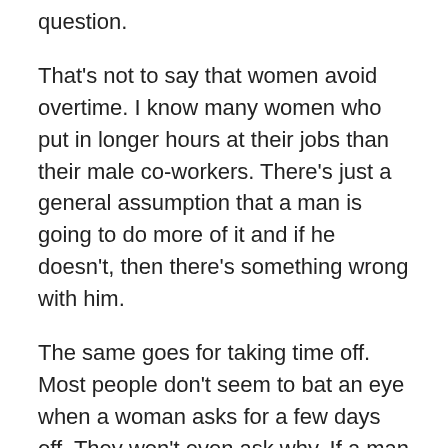question.
That's not to say that women avoid overtime. I know many women who put in longer hours at their jobs than their male co-workers. There's just a general assumption that a man is going to do more of it and if he doesn't, then there's something wrong with him.
The same goes for taking time off. Most people don't seem to bat an eye when a woman asks for a few days off. They won't even ask why. If a man makes a similar request, it raises more curiosity and he's expected to justify it. Again, this isn't the case everywhere, but even without bringing maternity leave into the mix, men are just expected to work more and work longer.
Some of these expectations are more pronounced in the United States where paid parental leave is not mandated